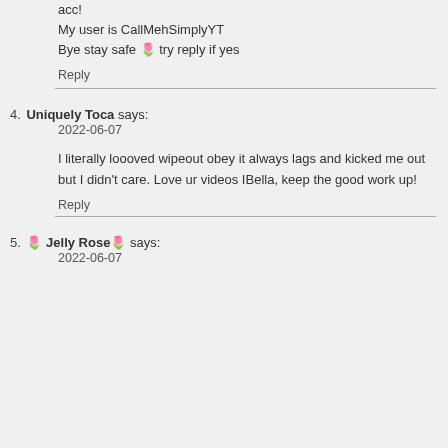acc!
My user is CallMehSimplyYT
Bye stay safe 🌷 try reply if yes
Reply
4. Uniquely Toca says:
2022-06-07

I literally loooved wipeout obey it always lags and kicked me out but I didn't care. Love ur videos IBella, keep the good work up!

Reply
5. 🌷 Jelly Rose🌷 says:
2022-06-07